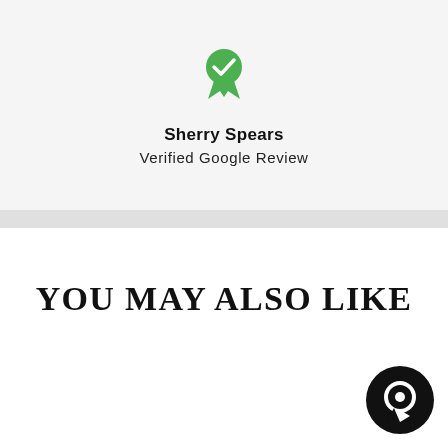[Figure (illustration): Green verified badge / ribbon award icon]
Sherry Spears
Verified Google Review
YOU MAY ALSO LIKE
[Figure (illustration): Black circular chat bubble icon in bottom right corner]